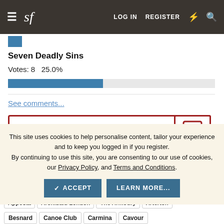sf  LOG IN  REGISTER
Seven Deadly Sins
Votes: 8   25.0%
See comments...
This site uses cookies to help personalise content, tailor your experience and to keep you logged in if you register. By continuing to use this site, you are consenting to our use of cookies, our Privacy Policy, and Terms and Conditions.
ACCEPT  LEARN MORE...
Apposta  Archibald London  The Armoury  Arterton
Besnard  Canoe Club  Carmina  Cavour
Cobbler Union  De Bonne Facture
Drinkwater's Cambridge  Drop93  eHABERDASHER